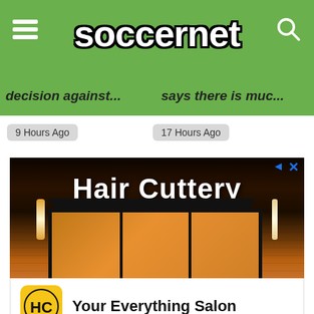soccernet
decision against...
says there is muc...
9 Hours Ago
17 Hours Ago
[Figure (photo): Hair Cuttery salon storefront at night with illuminated sign and windows showing interior]
Your Everything Salon
Hair Cuttery
Ashburn 8AM-8PM